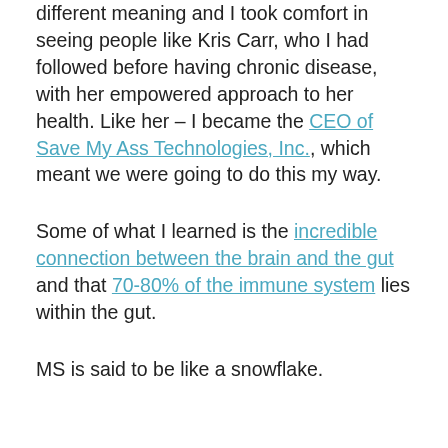different meaning and I took comfort in seeing people like Kris Carr, who I had followed before having chronic disease, with her empowered approach to her health. Like her – I became the CEO of Save My Ass Technologies, Inc., which meant we were going to do this my way.
Some of what I learned is the incredible connection between the brain and the gut and that 70-80% of the immune system lies within the gut.
MS is said to be like a snowflake.